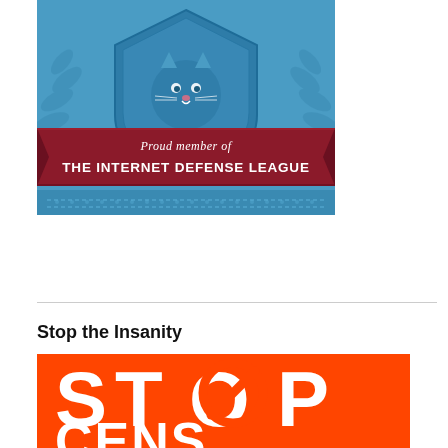[Figure (illustration): Internet Defense League member badge — blue shield with cat emblem and decorative laurel leaves, with a dark red ribbon banner reading 'Proud member of THE INTERNET DEFENSE LEAGUE' in white text]
Stop the Insanity
[Figure (illustration): Stop Censorship graphic — bright orange background with large bold white text reading 'STOP' on first line (with a no/ban symbol replacing the letter O) and 'CENS0RSH|P' partially visible on a second line]